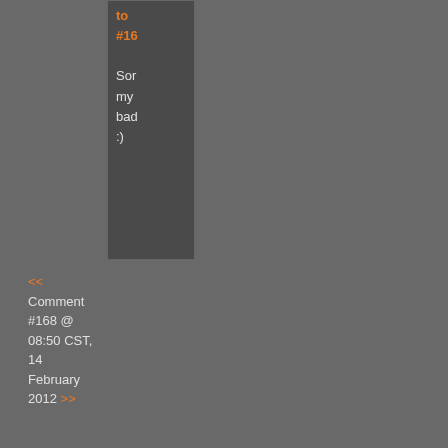to #16
Sorry my bad :)
<< Comment #168 @ 08:50 CST, 14 February 2012 >>
(Link, Reply) By Leth4L http://img
<< Comment #169 @ 08:56 CST, 14 February 2012 >>
(Link, Reply) By